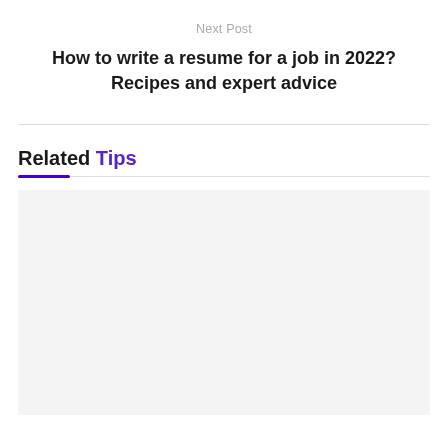Next Post
How to write a resume for a job in 2022?Recipes and expert advice
Related Tips
[Figure (other): Light gray placeholder card area below Related Tips section]